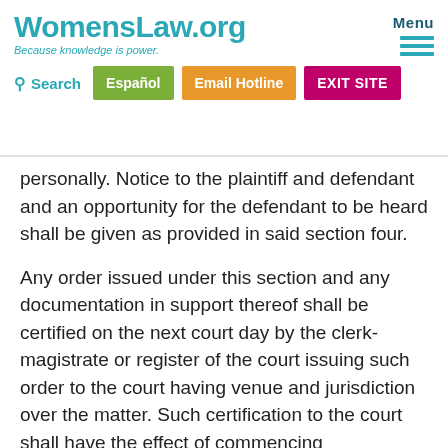WomensLaw.org — Because knowledge is power. Menu | Search | Español | Email Hotline | EXIT SITE
personally. Notice to the plaintiff and defendant and an opportunity for the defendant to be heard shall be given as provided in said section four.
Any order issued under this section and any documentation in support thereof shall be certified on the next court day by the clerk-magistrate or register of the court issuing such order to the court having venue and jurisdiction over the matter. Such certification to the court shall have the effect of commencing proceedings under this chapter and invoking the other provisions of this chapter but shall not be deemed necessary for an emergency order